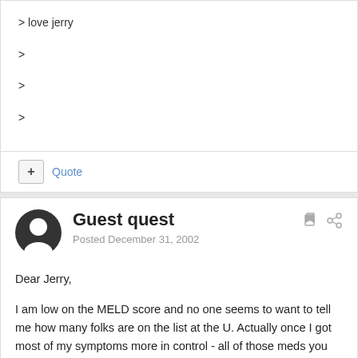> love jerry
>
>
>
+ Quote
Guest quest
Posted December 31, 2002
Dear Jerry,

I am low on the MELD score and no one seems to want to tell me how many folks are on the list at the U. Actually once I got most of my symptoms more in control - all of those meds you mentioned!- I've been pretty stable. My doctors are great and working together proactively though one compared my health today as being balance on a thin fence! The wait could be long which they tell me is good. I go back and forth on how I feel about it because I am so limited from fatigue and can't drive